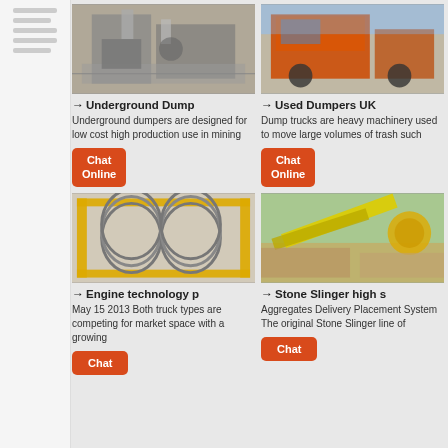[Figure (photo): Industrial mining equipment - underground dump machinery, grey/silver tones]
[Figure (photo): Red heavy dump truck machinery outdoors]
→ Underground Dump
Underground dumpers are designed for low cost high production use in mining
Chat Online
→ Used Dumpers UK
Dump trucks are heavy machinery used to move large volumes of trash such
Chat Online
[Figure (photo): Industrial coiled springs/machinery in yellow metal frame warehouse]
[Figure (photo): Stone slinger / aggregates delivery equipment outdoors, yellow machinery]
→ Engine technology p
May 15 2013  Both truck types are competing for market space with a growing
Chat
→ Stone Slinger high s
Aggregates Delivery Placement System The original Stone Slinger line of
Chat